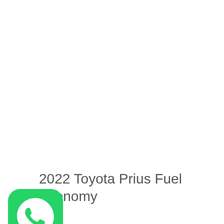2022 Toyota Prius Fuel Economy
[Figure (logo): WhatsApp app icon — green rounded square with white telephone handset in speech bubble]